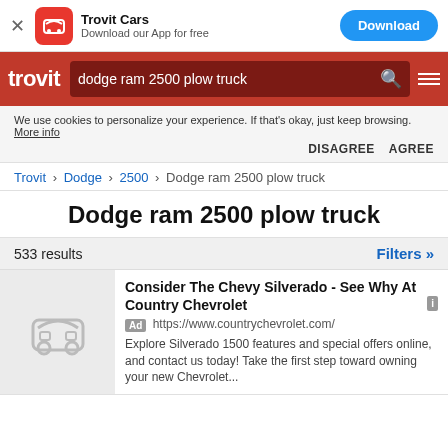Trovit Cars — Download our App for free — Download
trovit — dodge ram 2500 plow truck
We use cookies to personalize your experience. If that's okay, just keep browsing. More info — DISAGREE AGREE
Trovit › Dodge › 2500 › Dodge ram 2500 plow truck
Dodge ram 2500 plow truck
533 results   Filters »
Consider The Chevy Silverado - See Why At Country Chevrolet
Ad https://www.countrychevrolet.com/
Explore Silverado 1500 features and special offers online, and contact us today! Take the first step toward owning your new Chevrolet...